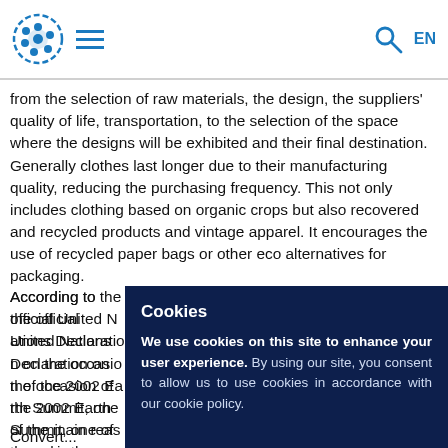Logo | Navigation | Search | EN
from the selection of raw materials, the design, the suppliers' quality of life, transportation, to the selection of the space where the designs will be exhibited and their final destination. Generally clothes last longer due to their manufacturing quality, reducing the purchasing frequency. This not only includes clothing based on organic crops but also recovered and recycled products and vintage apparel. It encourages the use of recycled paper bags or other eco alternatives for packaging.
According to the official United Nations Declaration on the occasion of the 2002 Earth Summit, one of the main reasons why the envi... "unsusta... particula... made to... respons...
Cookies
We use cookies on this site to enhance your user experience. By using our site, you consent to allow us to use cookies in accordance with our cookie policy.